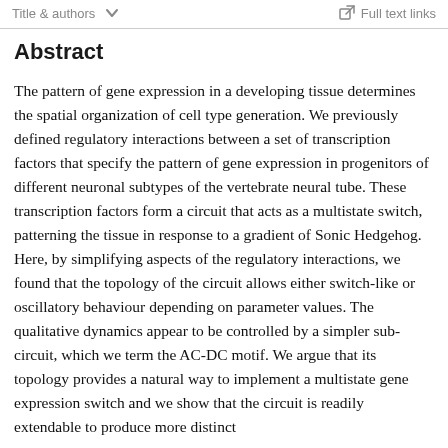Title & authors   Full text links
Abstract
The pattern of gene expression in a developing tissue determines the spatial organization of cell type generation. We previously defined regulatory interactions between a set of transcription factors that specify the pattern of gene expression in progenitors of different neuronal subtypes of the vertebrate neural tube. These transcription factors form a circuit that acts as a multistate switch, patterning the tissue in response to a gradient of Sonic Hedgehog. Here, by simplifying aspects of the regulatory interactions, we found that the topology of the circuit allows either switch-like or oscillatory behaviour depending on parameter values. The qualitative dynamics appear to be controlled by a simpler sub-circuit, which we term the AC-DC motif. We argue that its topology provides a natural way to implement a multistate gene expression switch and we show that the circuit is readily extendable to produce more distinct